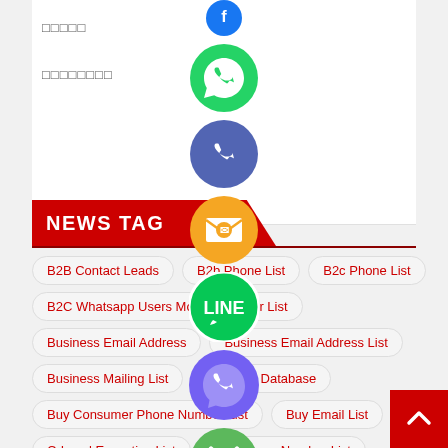□□□□□
□□□□□□□□
NEWS TAG
B2B Contact Leads
B2b Phone List
B2c Phone List
B2C Whatsapp Users Mobile Number List
Business Email Address
Business Email Address List
Business Mailing List
Buy B2B Database
Buy Consumer Phone Number List
Buy Email List
C-Level Executive List
Cell Phone Number List
Cold Calling List
Consumer Phone List
[Figure (illustration): Floating social media icons column: Facebook (blue), WhatsApp (green), Phone/Call (purple-blue), Email/Mail (orange), LINE (green with white LINE text), Viber (purple), Close/X (green with X)]